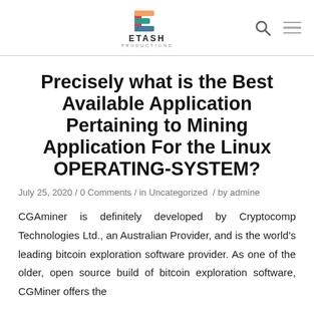[Figure (logo): Etash Productions logo with colorful E icon and text ETASH PRODUCTIONS]
Precisely what is the Best Available Application Pertaining to Mining Application For the Linux OPERATING-SYSTEM?
July 25, 2020 / 0 Comments / in Uncategorized / by admine
CGAminer is definitely developed by Cryptocomp Technologies Ltd., an Australian Provider, and is the world's leading bitcoin exploration software provider. As one of the older, open source build of bitcoin exploration software, CGMiner offers the